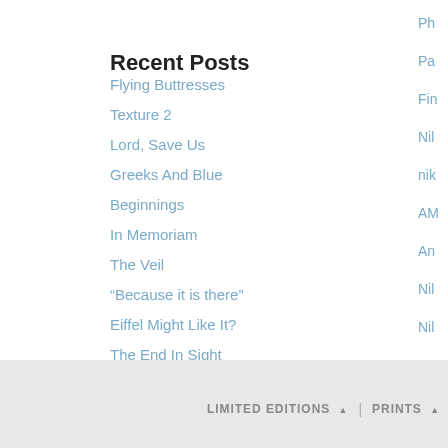Recent Posts
Flying Buttresses
Texture 2
Lord, Save Us
Greeks And Blue
Beginnings
In Memoriam
The Veil
“Because it is there”
Eiffel Might Like It?
The End In Sight
LIMITED EDITIONS ▲ | PRINTS ▲